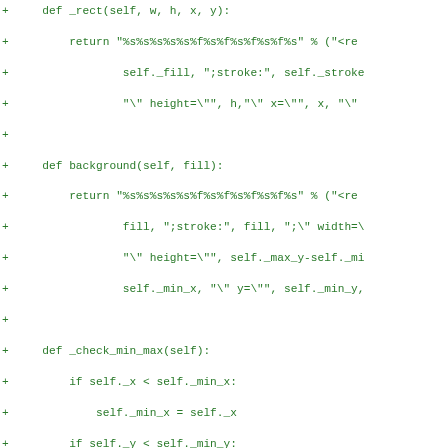[Figure (screenshot): Code diff snippet in green monospace font showing Python class methods: _rect, background, _check_min_max, and line_to, with '+' diff markers on the left.]